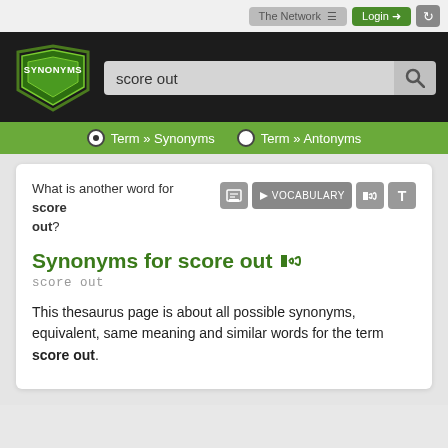The Network ≡   Login →   ↺
[Figure (screenshot): Synonyms.com website header with logo, search bar containing 'score out', and navigation tabs for Term » Synonyms and Term » Antonyms]
What is another word for score out?
Synonyms for score out
score out
This thesaurus page is about all possible synonyms, equivalent, same meaning and similar words for the term score out.